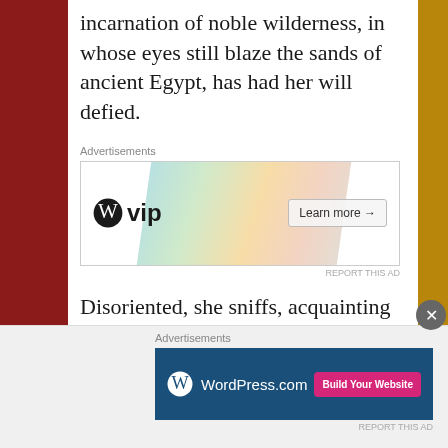incarnation of noble wilderness, in whose eyes still blaze the sands of ancient Egypt, has had her will defied.
[Figure (screenshot): WordPress VIP advertisement banner with colorful social media card graphics and 'Learn more' button]
Disoriented, she sniffs, acquainting herself with the alternative locale, and selects for herself a new throne. She will not spare a glance in your direction.
[Figure (screenshot): WordPress.com advertisement banner with blue background and pink 'Build Your Website' button]